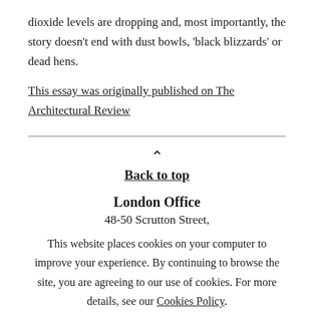dioxide levels are dropping and, most importantly, the story doesn't end with dust bowls, 'black blizzards' or dead hens.
This essay was originally published on The Architectural Review
Back to top
London Office
48-50 Scrutton Street,
This website places cookies on your computer to improve your experience. By continuing to browse the site, you are agreeing to our use of cookies. For more details, see our Cookies Policy.
close